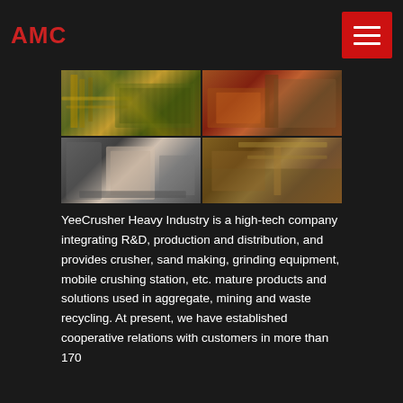AMC
[Figure (photo): Four-panel photo grid showing industrial crushing and mining equipment: top-left shows yellow scaffolding and conveyor structures at a quarry; top-right shows orange mobile crushing equipment on a hillside; bottom-left shows a grey/white vertical mill and cone crusher in a factory setting; bottom-right shows a large quarry or aggregate site with conveyor belts and crushing equipment.]
YeeCrusher Heavy Industry is a high-tech company integrating R&D, production and distribution, and provides crusher, sand making, grinding equipment, mobile crushing station, etc. mature products and solutions used in aggregate, mining and waste recycling. At present, we have established cooperative relations with customers in more than 170